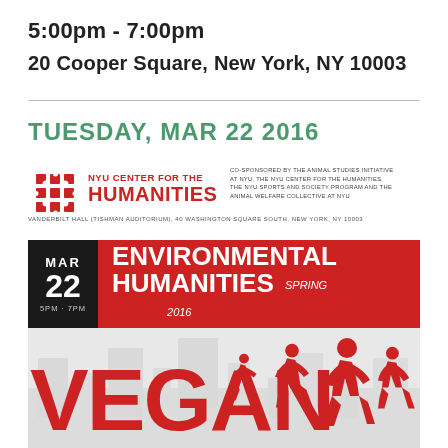5:00pm - 7:00pm
20 Cooper Square, New York, NY 10003
TUESDAY, MAR 22 2016
[Figure (infographic): NYU Center for the Humanities event flyer for Environmental Humanities Spring 2016 series, featuring MAR 22, 5PM-7PM, red banner with white text, and large red VEGAN text with running figure silhouettes]